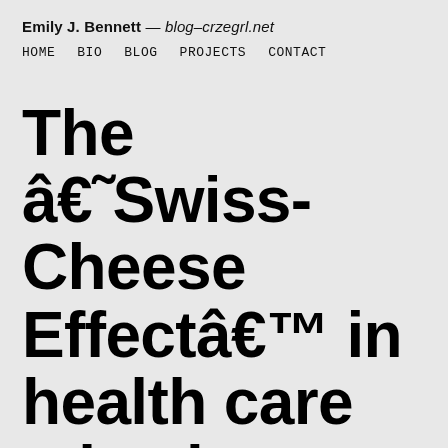Emily J. Bennett — blog-crzegrl.net
HOME   BIO   BLOG   PROJECTS   CONTACT
The â€˜Swiss-Cheese Effectâ€™ in health care mistakes: When your patient